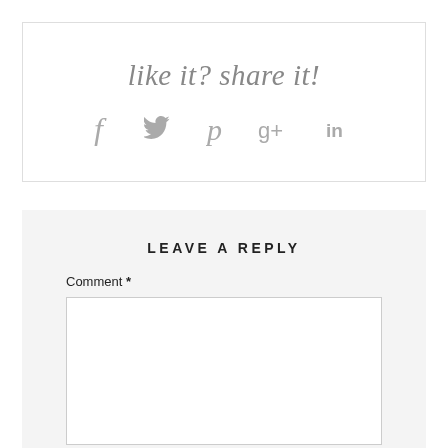like it? share it!
[Figure (infographic): Social media share icons: Facebook (f), Twitter (bird), Pinterest (P), Google+ (g+), LinkedIn (in)]
LEAVE A REPLY
Comment *